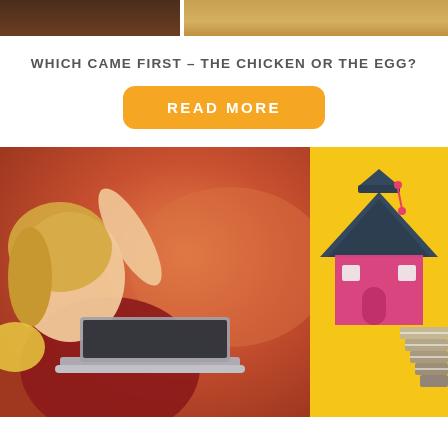[Figure (photo): Top strip showing two photos cropped: left side shows a dark brownish image (likely chicken or egg), right side shows a lighter warm-toned image.]
WHICH CAME FIRST – THE CHICKEN OR THE EGG?
READ MORE
[Figure (photo): Bottom left: photo of a young blonde girl in a red shirt looking at a laptop outdoors with warm blurred orange background. Bottom right: yellow background with illustration of a school/house with graduation cap icon.]